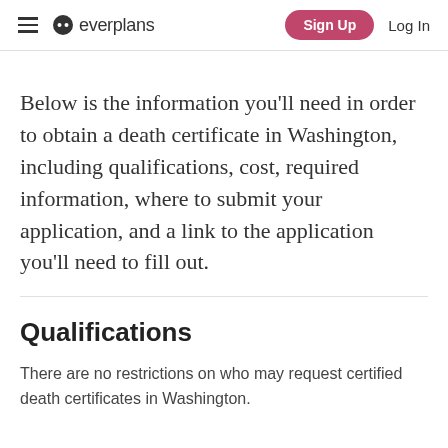everplans | Sign Up | Log In
Below is the information you'll need in order to obtain a death certificate in Washington, including qualifications, cost, required information, where to submit your application, and a link to the application you'll need to fill out.
Qualifications
There are no restrictions on who may request certified death certificates in Washington.